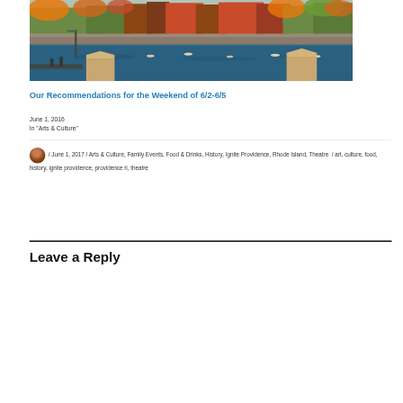[Figure (photo): Aerial/waterfront view of Providence RI harbor with boats, brick structures, and colorful autumn trees in the background]
Our Recommendations for the Weekend of 6/2-6/5
June 1, 2016
In "Arts & Culture"
/ June 1, 2017 / Arts & Culture, Family Events, Food & Drinks, History, Ignite Providence, Rhode Island, Theatre / art, culture, food, history, ignite providence, providence ri, theatre